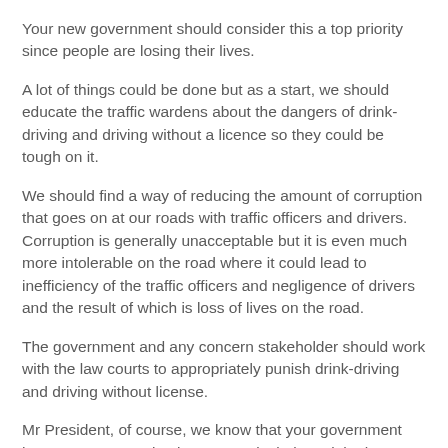Your new government should consider this a top priority since people are losing their lives.
A lot of things could be done but as a start, we should educate the traffic wardens about the dangers of drink-driving and driving without a licence so they could be tough on it.
We should find a way of reducing the amount of corruption that goes on at our roads with traffic officers and drivers.  Corruption is generally unacceptable but it is even much more intolerable on the road where it could lead to inefficiency of the traffic officers and negligence of drivers and the result of which is loss of lives on the road.
The government and any concern stakeholder should work with the law courts to appropriately punish drink-driving and driving without license.
Mr President, of course, we know that your government has so many pressing issues, particularly to right the wrongs of the previous regime; but consideration should be given to safety at road by way of tackling drink-driving and driving without licence.